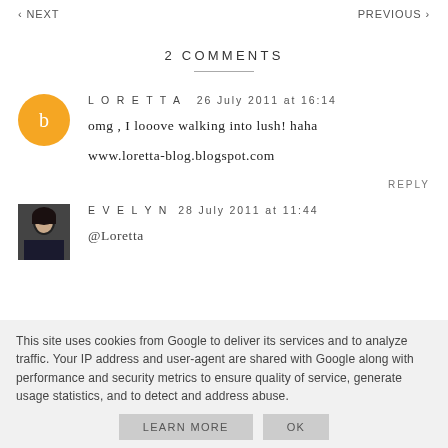‹ NEXT    PREVIOUS ›
2 COMMENTS
LORETTA   26 July 2011 at 16:14
omg , I looove walking into lush! haha
www.loretta-blog.blogspot.com
REPLY
EVELYN   28 July 2011 at 11:44
@Loretta
This site uses cookies from Google to deliver its services and to analyze traffic. Your IP address and user-agent are shared with Google along with performance and security metrics to ensure quality of service, generate usage statistics, and to detect and address abuse.
LEARN MORE    OK